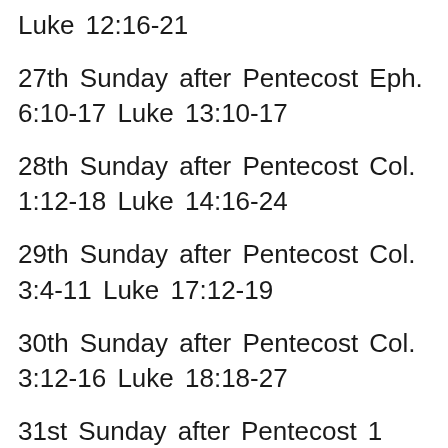Luke 12:16-21
27th Sunday after Pentecost Eph. 6:10-17 Luke 13:10-17
28th Sunday after Pentecost Col. 1:12-18 Luke 14:16-24
29th Sunday after Pentecost Col. 3:4-11 Luke 17:12-19
30th Sunday after Pentecost Col. 3:12-16 Luke 18:18-27
31st Sunday after Pentecost 1 Tim. 1:15-